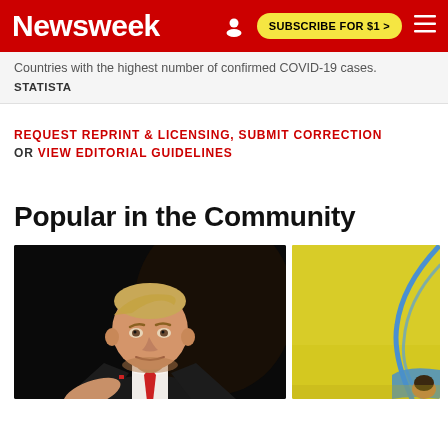Newsweek | SUBSCRIBE FOR $1 >
Countries with the highest number of confirmed COVID-19 cases.
STATISTA
REQUEST REPRINT & LICENSING, SUBMIT CORRECTION OR VIEW EDITORIAL GUIDELINES
Popular in the Community
[Figure (photo): Photo of a man in a dark suit and red tie against a black background]
[Figure (photo): Photo with yellow background and blue curved element, person visible at bottom right]